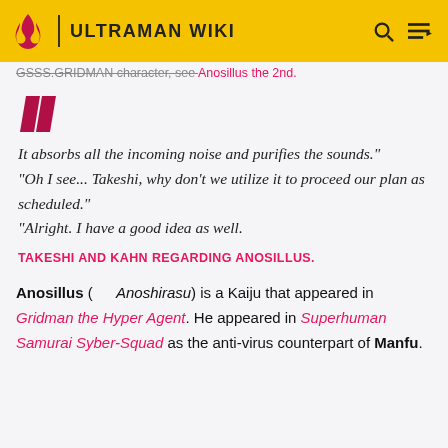ULTRAMAN WIKI
GSSS.GRIDMAN character, see Anosillus the 2nd.
It absorbs all the incoming noise and purifies the sounds."
"Oh I see... Takeshi, why don't we utilize it to proceed our plan as scheduled."
"Alright. I have a good idea as well.
TAKESHI AND KAHN REGARDING ANOSILLUS.
Anosillus (　　　Anoshirasu) is a Kaiju that appeared in Gridman the Hyper Agent. He appeared in Superhuman Samurai Syber-Squad as the anti-virus counterpart of Manfu.